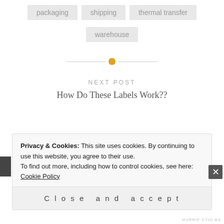packaging
shipping
thermal transfer
warehouse
[Figure (other): Horizontal divider with orange circle dot in center]
NEXT POST
How Do These Labels Work??
Privacy & Cookies: This site uses cookies. By continuing to use this website, you agree to their use.
To find out more, including how to control cookies, see here: Cookie Policy
Close and accept